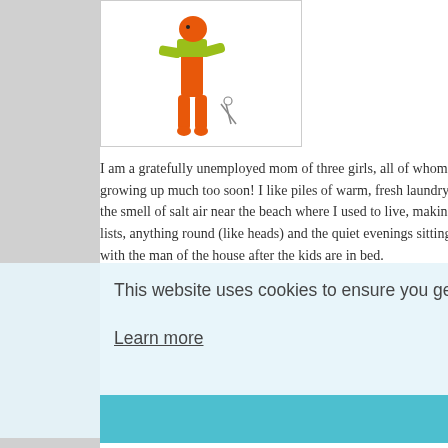[Figure (illustration): Child's drawing in orange and green colors, showing a figure — appears to be a stick-figure child with colorful crayon-style artwork]
I am a gratefully unemployed mom of three girls, all of whom are growing up much too soon! I like piles of warm, fresh laundry, the smell of salt air near the beach where I used to live, making lists, anything round (like heads) and the quiet evenings sitting with the man of the house after the kids are in bed.
Another sh
Kate has b Christmas sculptures Pronto) an product. P harden un
She loved
And all ye creating h
Way back I made an but watching detour into seem to le
COPYRIGHT
You are welcome to link to this blog, wing to any host on this blog and use cave in AND photos on that purpo... photos of my children. You are welcome to pin images from my blog. if those photos do not have my children's faces in the [...]ase contact me if you want to use the text on, or more photos from, this blog.
This website uses cookies to ensure you get the best experience on our website. Learn more
Got it!